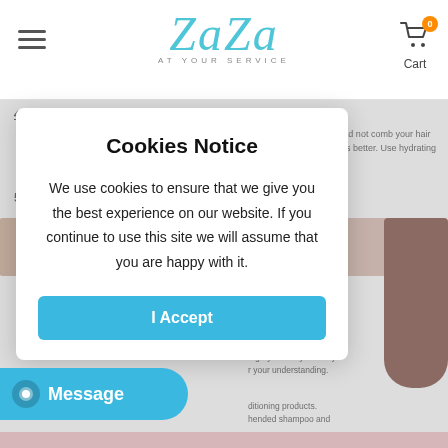ZaZa At Your Service — Cart 0
4. Why are my hair extensions getting tangled?
Your hair extensions can tangle due to dryness,dirt build-up, salt water, chlorine and not comb your hair daily. Make sure to wash & condition your hair at least once a week,twice a week is better. Use hydrating drops or consult your stylist for more help
5. Can this hair be Iron-flat & Curled & Dyed?
[Figure (photo): Strip of hair extension product images showing different shades/styles]
C, or the hair will be ron-flat.
onor's health condition. o grey hair. If you really r your understanding.
ditioning products. hended shampoo and
Cookies Notice

We use cookies to ensure that we give you the best experience on our website. If you continue to use this site we will assume that you are happy with it.

I Accept
Message